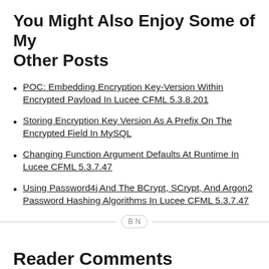You Might Also Enjoy Some of My Other Posts
POC: Embedding Encryption Key-Version Within Encrypted Payload In Lucee CFML 5.3.8.201
Storing Encryption Key Version As A Prefix On The Encrypted Field In MySQL
Changing Function Argument Defaults At Runtime In Lucee CFML 5.3.7.47
Using Password4j And The BCrypt, SCrypt, And Argon2 Password Hashing Algorithms In Lucee CFML 5.3.7.47
Reader Comments